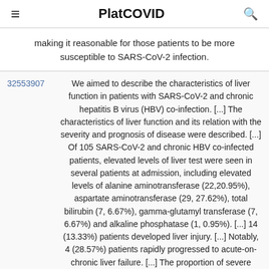PlatCOVID
making it reasonable for those patients to be more susceptible to SARS-CoV-2 infection.
32553907	We aimed to describe the characteristics of liver function in patients with SARS-CoV-2 and chronic hepatitis B virus (HBV) co-infection. [...] The characteristics of liver function and its relation with the severity and prognosis of disease were described. [...] Of 105 SARS-CoV-2 and chronic HBV co-infected patients, elevated levels of liver test were seen in several patients at admission, including elevated levels of alanine aminotransferase (22,20.95%), aspartate aminotransferase (29, 27.62%), total bilirubin (7, 6.67%), gamma-glutamyl transferase (7, 6.67%) and alkaline phosphatase (1, 0.95%). [...] 14 (13.33%) patients developed liver injury. [...] Notably, 4 (28.57%) patients rapidly progressed to acute-on-chronic liver failure. [...] The proportion of severe COVID-19 was higher in patients with liver injury (P= 0.042). [...] Complications including ACLF, acute cardiac injury and shock happened more